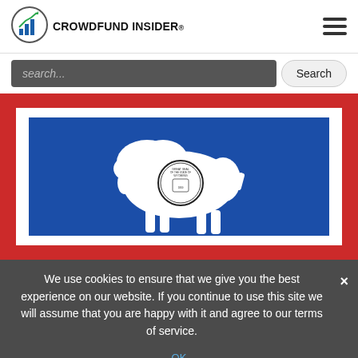CROWDFUND INSIDER
[Figure (logo): Crowdfund Insider logo with bar chart icon]
[Figure (photo): Wyoming state flag — white bison silhouette with state seal on blue field, bordered by red and white stripes]
We use cookies to ensure that we give you the best experience on our website. If you continue to use this site we will assume that you are happy with it and agree to our terms of service.
January 22, 2019 @ 10:25 am By JD Alois | 0 Comments
This past week, the state of Wyoming introduced